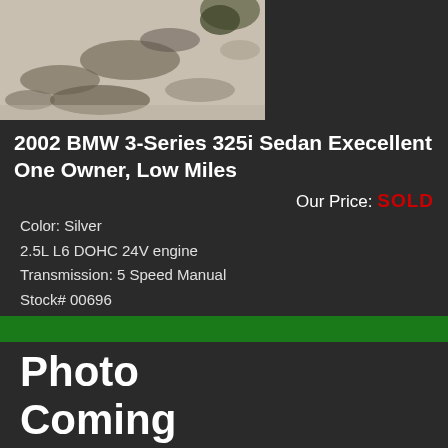[Figure (photo): Partial view of a car exterior photo, showing ground level with rocks/gravel and part of the vehicle]
2002 BMW 3-Series 325i Sedan Execellent One Owner, Low Miles
Our Price: SOLD
Color: Silver
2.5L L6 DOHC 24V engine
Transmission: 5 Speed Manual
Stock# 00696
Miles: 51,000 |
Get A Carfax Report
[Figure (photo): Photo Coming Soon placeholder image]
2007 BMW 3-Series 328i
Our Price: SOLD
Color: Gray
3.0L L6 DOHC 24V engine